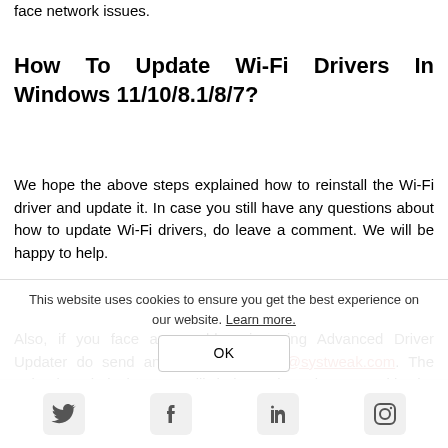face network issues.
How To Update Wi-Fi Drivers In Windows 11/10/8.1/8/7?
We hope the above steps explained how to reinstall the Wi-Fi driver and update it. In case you still have any questions about how to update Wi-Fi drivers, do leave a comment. We will be happy to help.
Also, if you face any problem in using Advanced Driver Updater do send an email to support@systweak.com. The trained technical team will help and assist you with the problem.
This website uses cookies to ensure you get the best experience on our website. Learn more.
OK